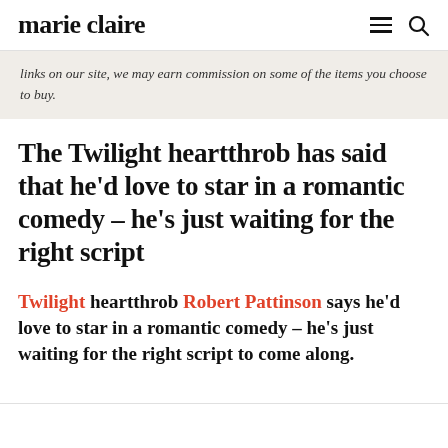marie claire
links on our site, we may earn commission on some of the items you choose to buy.
The Twilight heartthrob has said that he'd love to star in a romantic comedy – he's just waiting for the right script
Twilight heartthrob Robert Pattinson says he'd love to star in a romantic comedy – he's just waiting for the right script to come along.